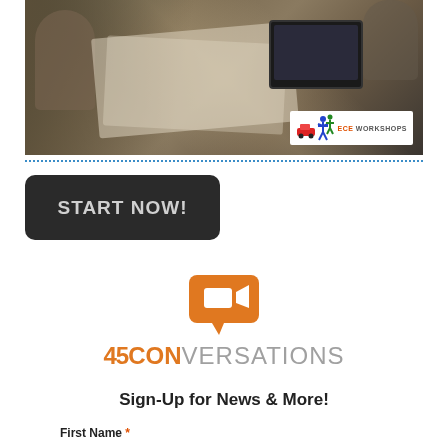[Figure (photo): Aerial view of people working at a desk with blueprints/papers and a laptop, with ECE Workshops logo watermark in bottom right corner]
[Figure (logo): Dark rounded rectangle button with text START NOW!]
[Figure (logo): 45 Conversations logo: orange speech bubble icon with video camera, text '45CONVERSATIONS' in orange and gray]
Sign-Up for News & More!
First Name *